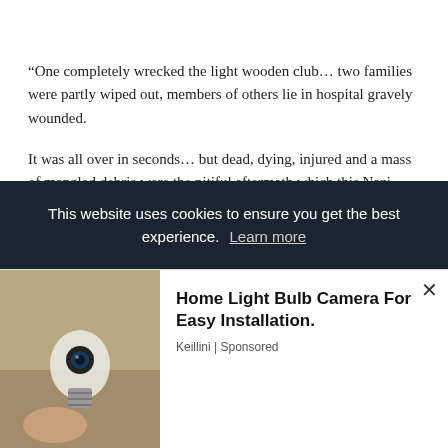“One completely wrecked the light wooden club… two families were partly wiped out, members of others lie in hospital gravely wounded.
It was all over in seconds… but dead, dying, injured and a mass of mangled debris were the pitiful aftermath which this Nazi bomber left behind as, immediately he swept back into the skies and vanished.”
Later there were many conflicting eyewitness accounts from those [partially obscured] that The [radio] Quay
[Figure (screenshot): Cookie consent banner overlay reading 'This website uses cookies to ensure you get the best experience. Learn more']
[Figure (screenshot): Advertisement banner for 'Home Light Bulb Camera For Easy Installation.' by Keillini | Sponsored, with product image on the left and a close button (x) on the right]